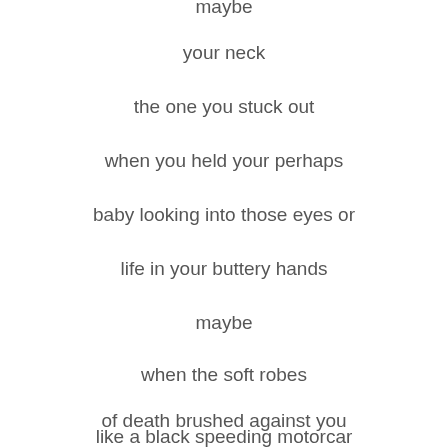maybe
your neck
the one you stuck out
when you held your perhaps
baby looking into those eyes or
life in your buttery hands
maybe
when the soft robes
of death brushed against you
like a black speeding motorcar